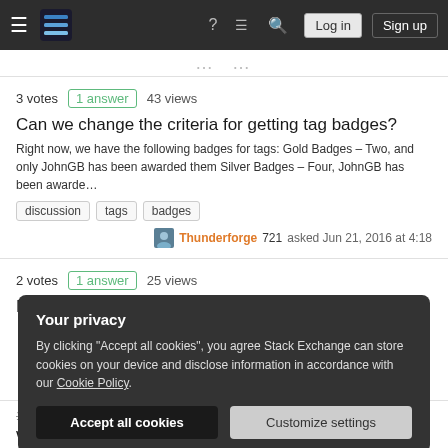Stack Exchange navigation bar with Log in and Sign up buttons
3 votes  1 answer  43 views
Can we change the criteria for getting tag badges?
Right now, we have the following badges for tags: Gold Badges – Two, and only JohnGB has been awarded them Silver Badges – Four, JohnGB has been awarde…
discussion
tags
badges
Thunderforge 721 asked Jun 21, 2016 at 4:18
2 votes  1 answer  25 views
Bug rewarding extra Marshal badges
Your privacy
By clicking "Accept all cookies", you agree Stack Exchange can store cookies on your device and disclose information in accordance with our Cookie Policy.
Accept all cookies  Customize settings